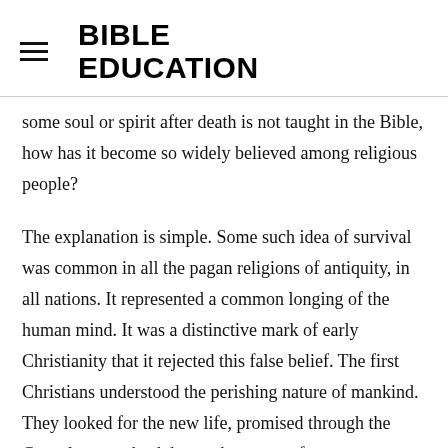BIBLE EDUCATION
some soul or spirit after death is not taught in the Bible, how has it become so widely believed among religious people?
The explanation is simple. Some such idea of survival was common in all the pagan religions of antiquity, in all nations. It represented a common longing of the human mind. It was a distinctive mark of early Christianity that it rejected this false belief. The first Christians understood the perishing nature of mankind. They looked for the new life, promised through the Gospel, not at death but at the return of